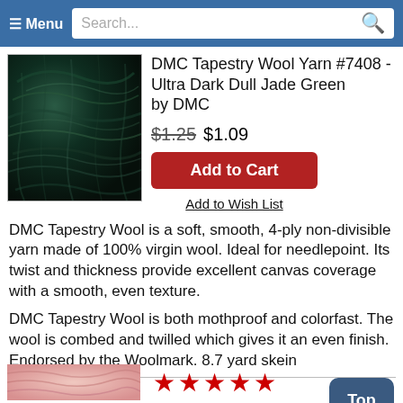Menu | Search...
[Figure (photo): Dark teal/green wool yarn texture, close-up macro photo showing the fibrous texture of DMC Tapestry Wool #7408 Ultra Dark Dull Jade Green]
DMC Tapestry Wool Yarn #7408 - Ultra Dark Dull Jade Green by DMC
$1.25 $1.09
Add to Cart
Add to Wish List
DMC Tapestry Wool is a soft, smooth, 4-ply non-divisible yarn made of 100% virgin wool. Ideal for needlepoint. Its twist and thickness provide excellent canvas coverage with a smooth, even texture.
DMC Tapestry Wool is both mothproof and colorfast. The wool is combed and twilled which gives it an even finish. Endorsed by the Woolmark. 8.7 yard skein
[Figure (photo): Pink/light colored yarn texture at the bottom of the page, partially visible]
★★★★★